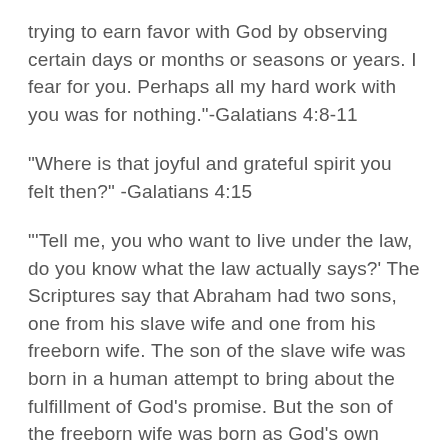trying to earn favor with God by observing certain days or months or seasons or years. I fear for you. Perhaps all my hard work with you was for nothing."-Galatians 4:8-11
“Where is that joyful and grateful spirit you felt then?” -Galatians 4:15
“‘Tell me, you who want to live under the law, do you know what the law actually says?’ The Scriptures say that Abraham had two sons, one from his slave wife and one from his freeborn wife. The son of the slave wife was born in a human attempt to bring about the fulfillment of God’s promise. But the son of the freeborn wife was born as God’s own fulfillment of his promise.”-Galatians 4:21-23